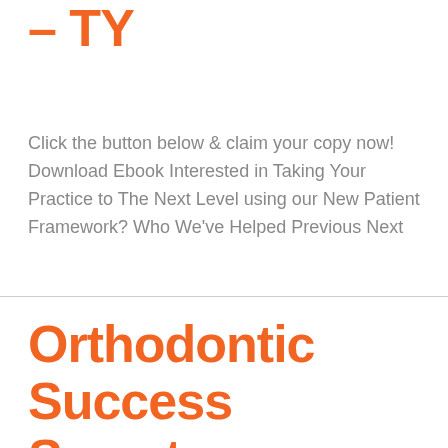– TY
Click the button below & claim your copy now! Download Ebook Interested in Taking Your Practice to The Next Level using our New Patient Framework? Who We've Helped Previous Next
Orthodontic Success Secrets 2.0 – TY